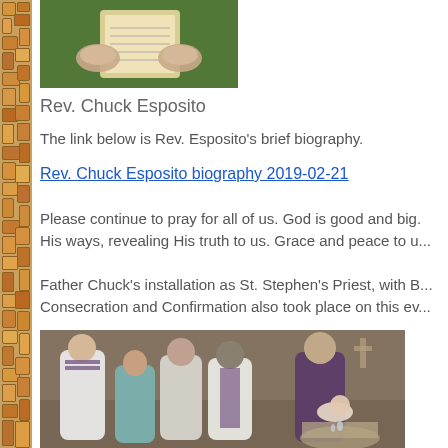[Figure (photo): Close-up photo of hands holding something, person wearing green vestments]
Rev. Chuck Esposito
The link below is Rev. Esposito's brief biography.
Rev. Chuck Esposito biography 2019-02-21
Please continue to pray for all of us. God is good and big... His ways, revealing His truth to us. Grace and peace to u...
Father Chuck's installation as St. Stephen's Priest, with B... Consecration and Confirmation also took place on this ev...
[Figure (photo): Church ceremony photo showing clergy and congregation, including a priest performing what appears to be a baptism]